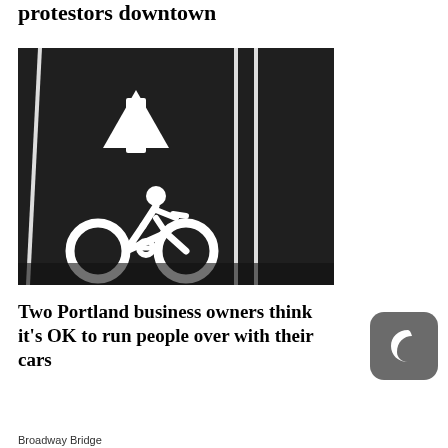protestors downtown
[Figure (photo): Aerial view of a bike lane painted on dark asphalt road, showing a white bicycle symbol and an upward-pointing arrow, with white lane divider lines on the right side.]
Two Portland business owners think it's OK to run people over with their cars
Broadway Bridge